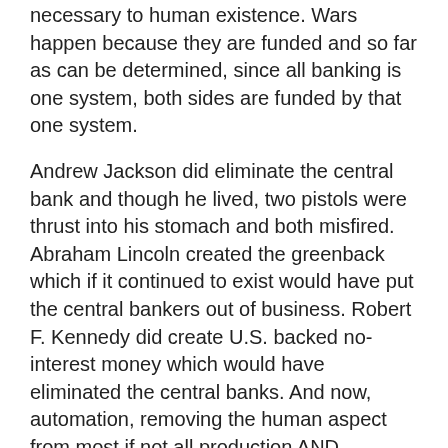necessary to human existence. Wars happen because they are funded and so far as can be determined, since all banking is one system, both sides are funded by that one system.
Andrew Jackson did eliminate the central bank and though he lived, two pistols were thrust into his stomach and both misfired. Abraham Lincoln created the greenback which if it continued to exist would have put the central bankers out of business. Robert F. Kennedy did create U.S. backed no-interest money which would have eliminated the central banks. And now, automation, removing the human aspect from most if not all production AND distribution, threatens to collapse even their monetary system. If we had Lincoln money or Kennedy money, the transition would have been simple to do. It would be like making a lamp with a decal glued to the side and thinking the lamp wouldn't work without the decal